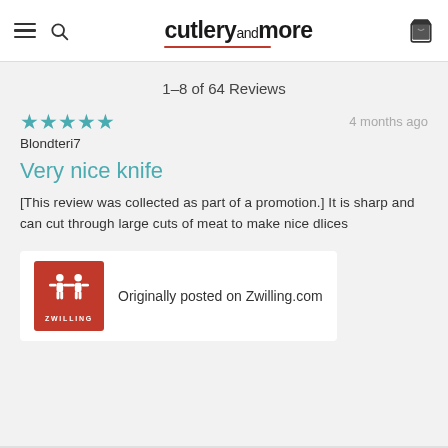cutleryandmore
1–8 of 64 Reviews
★★★★★ 4 months ago
Blondtteri7
Very nice knife
[This review was collected as part of a promotion.] It is sharp and can cut through large cuts of meat to make nice dlices
[Figure (logo): Zwilling brand logo in red square]
Originally posted on Zwilling.com